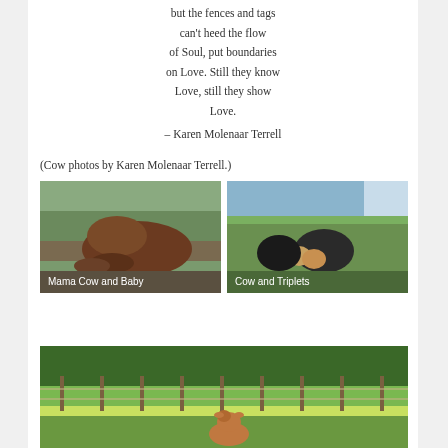but the fences and tags
can't heed the flow
of Soul, put boundaries
on Love. Still they know
Love, still they show
Love.
– Karen Molenaar Terrell
(Cow photos by Karen Molenaar Terrell.)
[Figure (photo): Photo of a brown mama cow with her baby calf lying on green grass in a field. Caption reads: Mama Cow and Baby]
[Figure (photo): Photo of a black cow with triplet calves in a green field with farm buildings in the background. Caption reads: Cow and Triplets]
[Figure (photo): Photo of a young brown calf in a lush green field with yellow wildflowers and a fence line with trees in the background.]